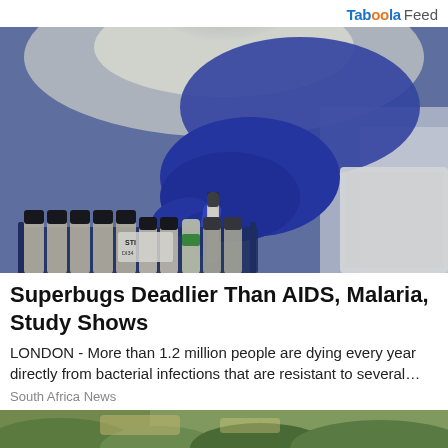Taboola Feed
[Figure (photo): A gloved hand in a blue latex glove handling laboratory vials or test tubes in a rack, with labels visible including 'STI', laboratory setting with overhead lighting]
Superbugs Deadlier Than AIDS, Malaria, Study Shows
LONDON -  More than 1.2 million people are dying every year directly from bacterial infections that are resistant to several…
South Africa News
[Figure (photo): Partial bottom image strip showing a nature or outdoor scene, partially visible]